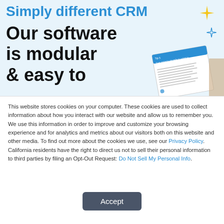Simply different CRM
Our software is modular & easy to
[Figure (illustration): Gold four-pointed star decorative element in top right of hero banner]
[Figure (illustration): Blue outline four-pointed star decorative element]
[Figure (screenshot): Document thumbnail showing a white paper with blue header text reading 'Your systems struggle to adapt to changing circumstances']
This website stores cookies on your computer. These cookies are used to collect information about how you interact with our website and allow us to remember you. We use this information in order to improve and customize your browsing experience and for analytics and metrics about our visitors both on this website and other media. To find out more about the cookies we use, see our Privacy Policy. California residents have the right to direct us not to sell their personal information to third parties by filing an Opt-Out Request: Do Not Sell My Personal Info.
Accept